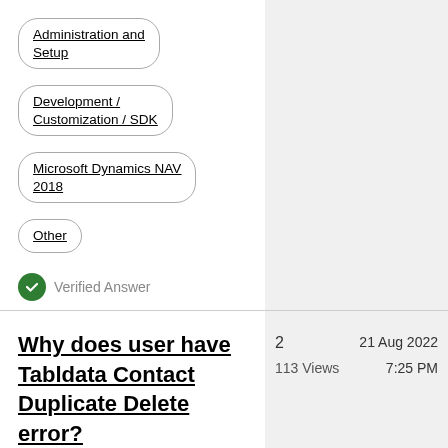Administration and Setup
Development / Customization / SDK
Microsoft Dynamics NAV 2018
Other
Verified Answer
Why does user have Tabldata Contact Duplicate Delete error?
2
113 Views
21 Aug 2022
7:25 PM